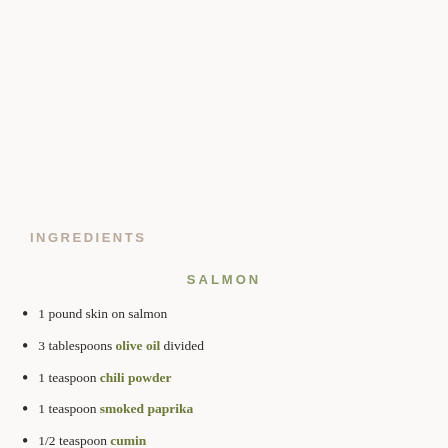INGREDIENTS
SALMON
1 pound skin on salmon
3 tablespoons olive oil divided
1 teaspoon chili powder
1 teaspoon smoked paprika
1/2 teaspoon cumin
1/2 teaspoon salt + pepper